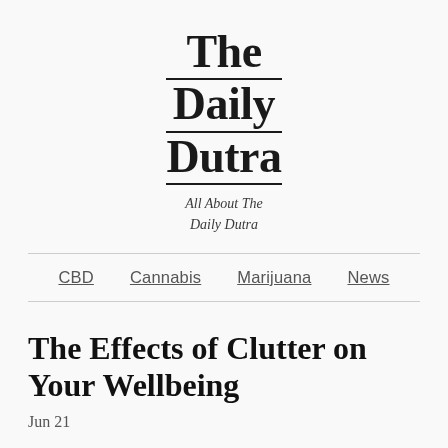The Daily Dutra
All About The Daily Dutra
CBD   Cannabis   Marijuana   News
The Effects of Clutter on Your Wellbeing
Jun 21